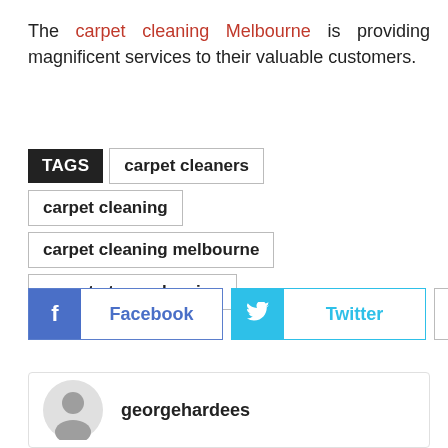The carpet cleaning Melbourne is providing magnificent services to their valuable customers.
TAGS  carpet cleaners  carpet cleaning  carpet cleaning melbourne  carpet steam cleaning
[Figure (infographic): Social sharing buttons: Facebook button with blue f icon, Twitter button with cyan bird icon, and a plus button]
georgehardees